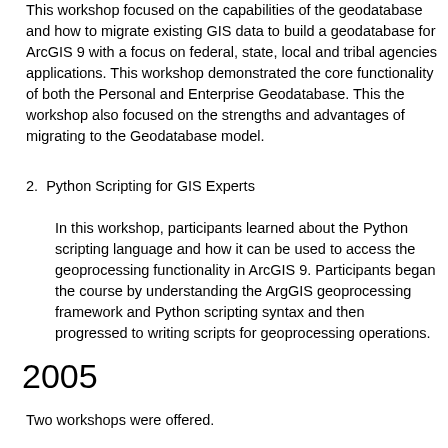This workshop focused on the capabilities of the geodatabase and how to migrate existing GIS data to build a geodatabase for ArcGIS 9 with a focus on federal, state, local and tribal agencies applications. This workshop demonstrated the core functionality of both the Personal and Enterprise Geodatabase. This the workshop also focused on the strengths and advantages of migrating to the Geodatabase model.
2. Python Scripting for GIS Experts
In this workshop, participants learned about the Python scripting language and how it can be used to access the geoprocessing functionality in ArcGIS 9. Participants began the course by understanding the ArgGIS geoprocessing framework and Python scripting syntax and then progressed to writing scripts for geoprocessing operations.
2005
Two workshops were offered.